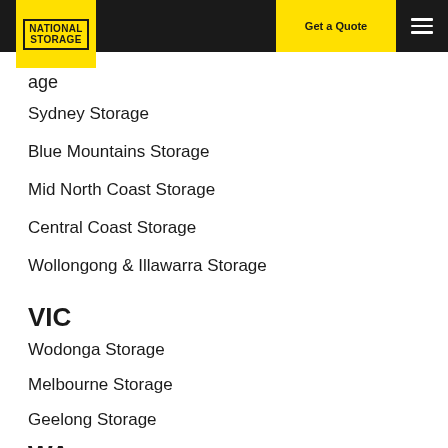National Storage — Get a Quote
…age (partial, Storage)
Sydney Storage
Blue Mountains Storage
Mid North Coast Storage
Central Coast Storage
Wollongong & Illawarra Storage
VIC
Wodonga Storage
Melbourne Storage
Geelong Storage
WA